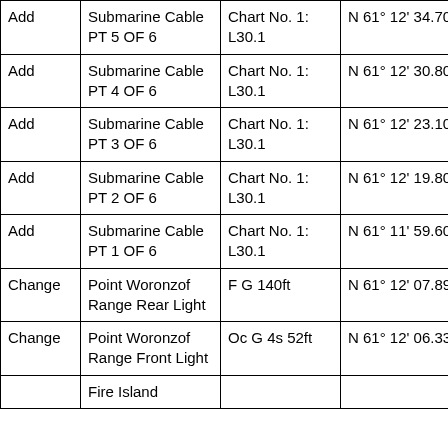| Action | Feature | Chart Symbol | Latitude | Longitude |
| --- | --- | --- | --- | --- |
| Add | Submarine Cable PT 5 OF 6 | Chart No. 1: L30.1 | N 61° 12' 34.700" | W 150… |
| Add | Submarine Cable PT 4 OF 6 | Chart No. 1: L30.1 | N 61° 12' 30.800" | W 150… |
| Add | Submarine Cable PT 3 OF 6 | Chart No. 1: L30.1 | N 61° 12' 23.100" | W 150… |
| Add | Submarine Cable PT 2 OF 6 | Chart No. 1: L30.1 | N 61° 12' 19.800" | W 149… |
| Add | Submarine Cable PT 1 OF 6 | Chart No. 1: L30.1 | N 61° 11' 59.600" | W 149… |
| Change | Point Woronzof Range Rear Light | F G 140ft | N 61° 12' 07.895" | W 150… |
| Change | Point Woronzof Range Front Light | Oc G 4s 52ft | N 61° 12' 06.331" | W 150… |
|  | Fire Island |  |  |  |